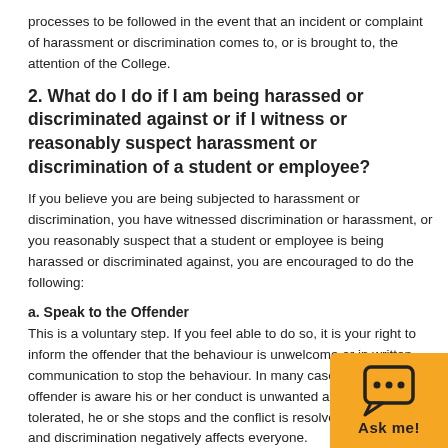processes to be followed in the event that an incident or complaint of harassment or discrimination comes to, or is brought to, the attention of the College.
2. What do I do if I am being harassed or discriminated against or if I witness or reasonably suspect harassment or discrimination of a student or employee?
If you believe you are being subjected to harassment or discrimination, you have witnessed discrimination or harassment, or you reasonably suspect that a student or employee is being harassed or discriminated against, you are encouraged to do the following:
a. Speak to the Offender
This is a voluntary step. If you feel able to do so, it is your right to inform the offender that the behaviour is unwelcome or in written communication to stop the behaviour. In many cases, when the offender is aware his or her conduct is unwanted and will not be tolerated, he or she stops and the conflict is resolved. Harassment and discrimination negatively affects everyone.
[Figure (other): Orange 'Ask me!' chat widget button in the bottom-right corner]